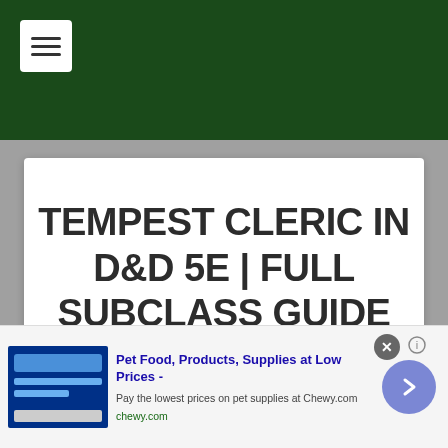TEMPEST CLERIC IN D&D 5E | FULL SUBCLASS GUIDE
[Figure (screenshot): Advertisement banner for Chewy.com pet supplies showing a blue pet store image, headline 'Pet Food, Products, Supplies at Low Prices -', body text 'Pay the lowest prices on pet supplies at Chewy.com', URL 'chewy.com', a close button, an info icon, and a blue navigation arrow button]